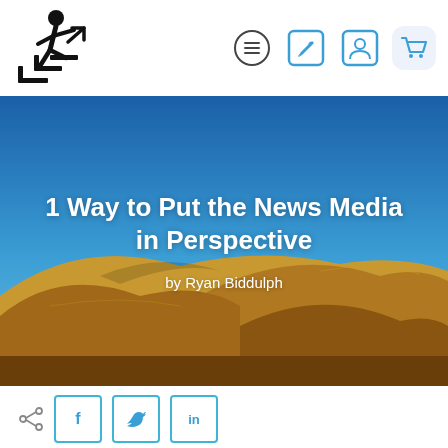[Figure (logo): Person climbing stairs logo icon in black]
[Figure (other): Navigation bar icons: hamburger menu circle, edit/write square icon, profile/user square icon, shopping cart square icon with light blue background]
[Figure (photo): Hero image of sand dunes under a blue sky with white text overlay reading '1 Way to Put the News Media in Perspective' and byline 'by Ryan Biddulph']
1 Way to Put the News Media in Perspective
by Ryan Biddulph
[Figure (other): Social share bar with share icon and three square buttons: Facebook (f), Twitter (bird), LinkedIn (in)]